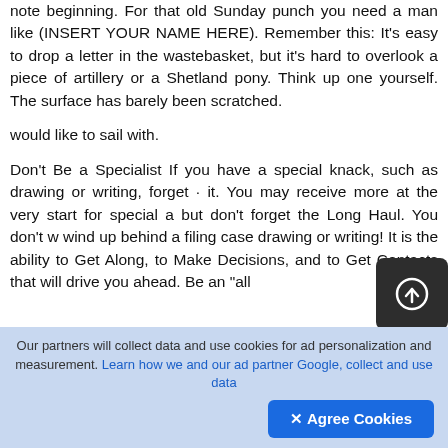note beginning. For that old Sunday punch you need a man like (INSERT YOUR NAME HERE). Remember this: It's easy to drop a letter in the wastebasket, but it's hard to overlook a piece of artillery or a Shetland pony. Think up one yourself. The surface has barely been scratched.

would like to sail with.

Don't Be a Specialist If you have a special knack, such as drawing or writing, forget · it. You may receive more at the very start for special a... but don't forget the Long Haul. You don't w... wind up behind a filing case drawing or writing! It is the ability to Get Along, to Make Decisions, and to Get Contacts that will drive you ahead. Be an "all...
[Figure (other): Circular upload/share button (dark rounded square with white circle-arrow icon)]
Our partners will collect data and use cookies for ad personalization and measurement. Learn how we and our ad partner Google, collect and use data
✕ Agree Cookies